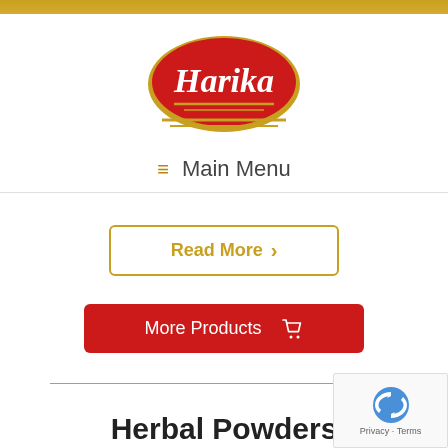[Figure (logo): Harika brand logo: red ellipse with gold border, white italic text 'Harika', gold decorative lines below]
≡  Main Menu
Read More >
More Products 🛒
Herbal Powders